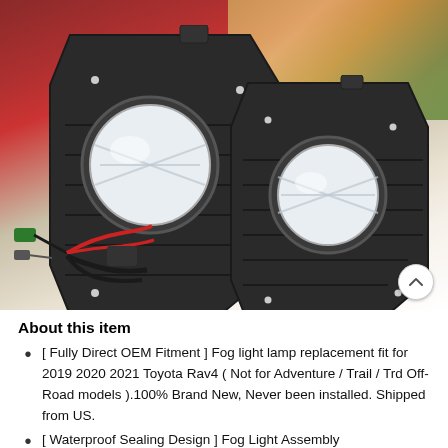[Figure (photo): Product photo showing a pair of fog light lamp assemblies with black bezels for Toyota RAV4, plus wiring harness components, against a background showing a red Toyota RAV4 vehicle]
About this item
[ Fully Direct OEM Fitment ] Fog light lamp replacement fit for 2019 2020 2021 Toyota Rav4 ( Not for Adventure / Trail / Trd Off-Road models ).100% Brand New, Never been installed. Shipped from US.
[ Waterproof Sealing Design ] Fog Light Assembly